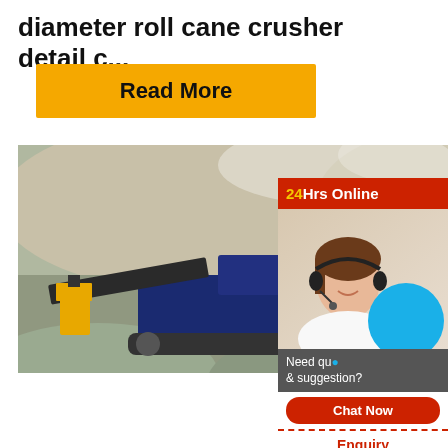diameter roll cane crusher detail c...
Read More
[Figure (photo): Track-mounted cone crusher machinery on a mining/quarrying site surrounded by gravel and dirt mounds, with yellow excavator in background.]
[Figure (infographic): 24Hrs Online chat widget with support agent photo, blue circle, 'Need question & suggestion?' text, Chat Now button, Enquiry link, and limingjlmofen footer.]
track mounted cone crushers fo...
Read More